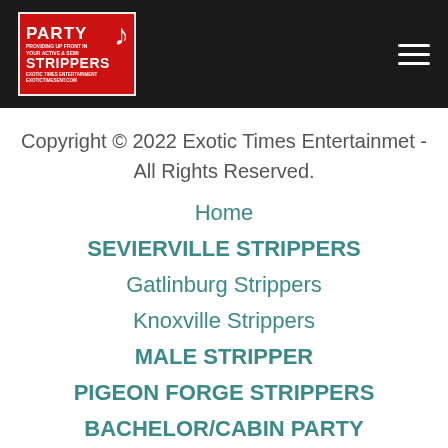Party Strippers - Exotic Times Entertainment
Copyright © 2022 Exotic Times Entertainmet - All Rights Reserved.
Home
SEVIERVILLE STRIPPERS
Gatlinburg Strippers
Knoxville Strippers
MALE STRIPPER
PIGEON FORGE STRIPPERS
BACHELOR/CABIN PARTY
FAQs